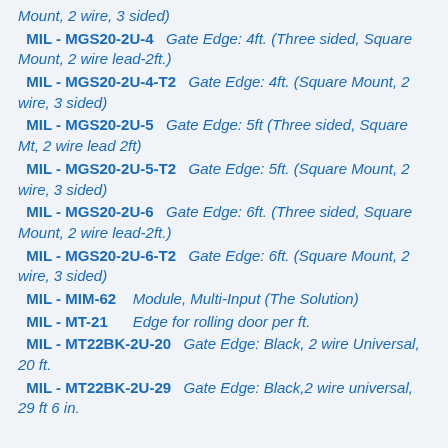Mount, 2 wire, 3 sided)
MIL - MGS20-2U-4   Gate Edge: 4ft. (Three sided, Square Mount, 2 wire lead-2ft.)
MIL - MGS20-2U-4-T2   Gate Edge: 4ft. (Square Mount, 2 wire, 3 sided)
MIL - MGS20-2U-5   Gate Edge: 5ft (Three sided, Square Mt, 2 wire lead 2ft)
MIL - MGS20-2U-5-T2   Gate Edge: 5ft. (Square Mount, 2 wire, 3 sided)
MIL - MGS20-2U-6   Gate Edge: 6ft. (Three sided, Square Mount, 2 wire lead-2ft.)
MIL - MGS20-2U-6-T2   Gate Edge: 6ft. (Square Mount, 2 wire, 3 sided)
MIL - MIM-62   Module, Multi-Input (The Solution)
MIL - MT-21   Edge for rolling door per ft.
MIL - MT22BK-2U-20   Gate Edge: Black, 2 wire Universal, 20 ft.
MIL - MT22BK-2U-29   Gate Edge: Black,2 wire universal, 29 ft 6 in.